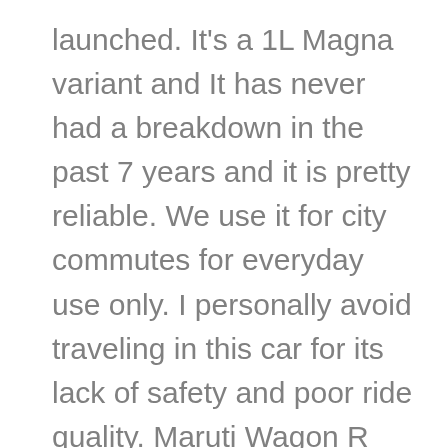launched. It's a 1L Magna variant and It has never had a breakdown in the past 7 years and it is pretty reliable. We use it for city commutes for everyday use only. I personally avoid traveling in this car for its lack of safety and poor ride quality. Maruti Wagon R and Maruti Celerio have a better ride quality than this car. The milage is average as we get about 16-18 Km/L. The audio system particularly is of poor quality as the buttons have worn out and not working. I'd not recommend this car to anyone. The only things good about the car are its good looks as it still looks modern today, the